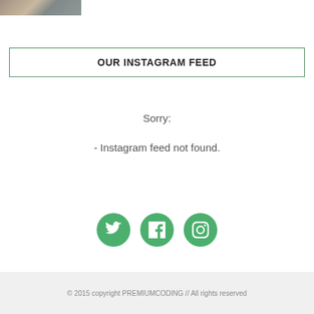[Figure (photo): Small thumbnail photo of buildings or architecture at top left]
OUR INSTAGRAM FEED
Sorry:
- Instagram feed not found.
[Figure (infographic): Three green circular social media icon buttons: Twitter, Facebook, Instagram]
© 2015 copyright PREMIUMCODING // All rights reserved